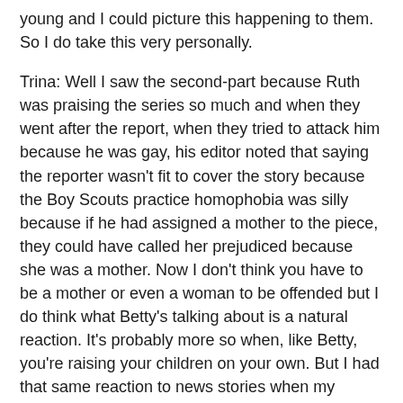young and I could picture this happening to them. So I do take this very personally.
Trina: Well I saw the second-part because Ruth was praising the series so much and when they went after the report, when they tried to attack him because he was gay, his editor noted that saying the reporter wasn't fit to cover the story because the Boy Scouts practice homophobia was silly because if he had assigned a mother to the piece, they could have called her prejudiced because she was a mother. Now I don't think you have to be a mother or even a woman to be offended but I do think what Betty's talking about is a natural reaction. It's probably more so when, like Betty, you're raising your children on your own. But I had that same reaction to news stories when my children were younger. It's a natural reaction to hear about something like this and then think of your own children. Betty, am I wrong on this, did you not immediately make a list of every adult that's around your child?
Betty: Exactly, that's exactly what I did. If the story was about a bad cop, I would've gone through my head trying to think of